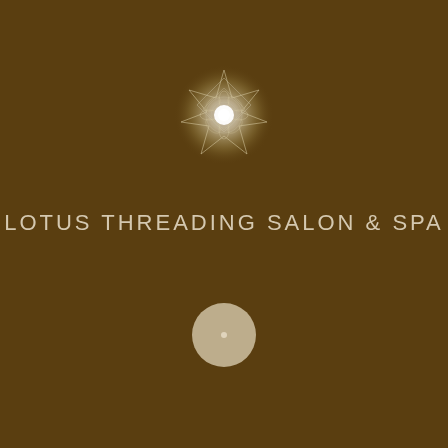[Figure (logo): Decorative mandala/lotus star geometric logo with glowing white center, geometric line art forming an 8-pointed star pattern]
LOTUS THREADING SALON & SPA
[Figure (other): Small beige/tan circle, possibly a button or decorative element]